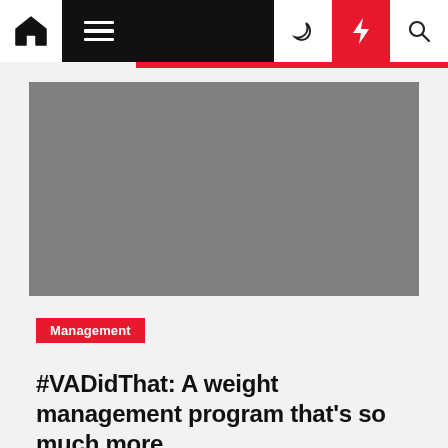Navigation bar with home, menu, moon, flash, and search icons
[Figure (photo): Gray placeholder image for article hero photo]
Management
#VADidThat: A weight management program that's so much more
Barbara P. Sherrill  7 months ago